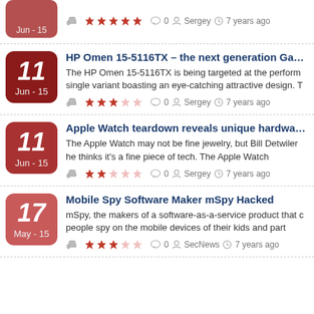Jun - 15 | 5 stars | 0 comments | Sergey | 7 years ago
HP Omen 15-5116TX – the next generation Gamin... Jun - 15 | 3 stars | 0 comments | Sergey | 7 years ago
Apple Watch teardown reveals unique hardware a... Jun - 15 | 2 stars | 0 comments | Sergey | 7 years ago
Mobile Spy Software Maker mSpy Hacked | May - 17 | 3 stars | 0 comments | SecNews | 7 years ago